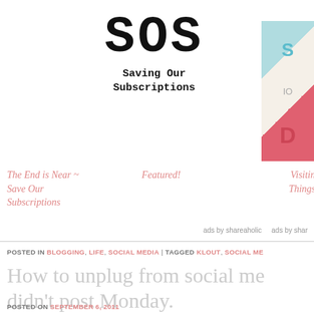[Figure (logo): SOS logo with bold courier font letters 'SOS' and tagline 'Saving Our Subscriptions']
[Figure (photo): Partial photo on right side showing colorful letters/notebook]
The End is Near ~ Save Our Subscriptions
Featured!
Visiting Things
ads by shareaholic   ads by shareaholic
POSTED IN BLOGGING, LIFE, SOCIAL MEDIA | TAGGED KLOUT, SOCIAL ME...
How to unplug from social me... didn't post Monday.
POSTED ON SEPTEMBER 6, 2011